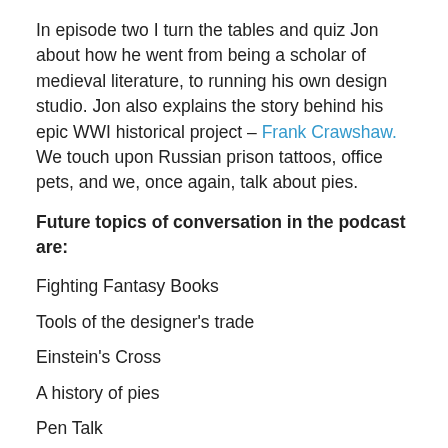In episode two I turn the tables and quiz Jon about how he went from being a scholar of medieval literature, to running his own design studio. Jon also explains the story behind his epic WWI historical project – Frank Crawshaw. We touch upon Russian prison tattoos, office pets, and we, once again, talk about pies.
Future topics of conversation in the podcast are:
Fighting Fantasy Books
Tools of the designer's trade
Einstein's Cross
A history of pies
Pen Talk